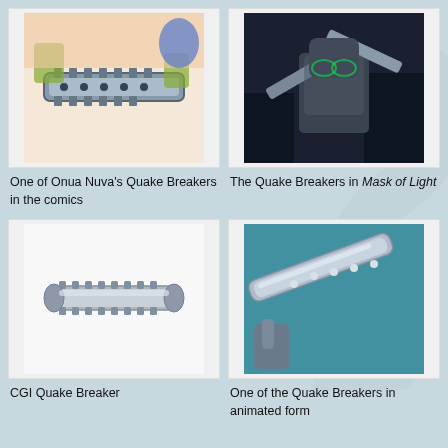[Figure (photo): One of Onua Nuva's Quake Breakers depicted in the comics — close-up of a mechanical chain/gear weapon with colorful comic art style]
[Figure (photo): The Quake Breakers in Mask of Light — a dark CGI scene showing a robot with glowing green eyes holding weapons]
One of Onua Nuva's Quake Breakers in the comics
The Quake Breakers in Mask of Light
[Figure (photo): CGI Quake Breaker — a detailed CGI side-view render of a Quake Breaker weapon on white background]
[Figure (photo): One of the Quake Breakers in animated form — a CGI image of the weapon being held, shown against teal background]
CGI Quake Breaker
One of the Quake Breakers in animated form